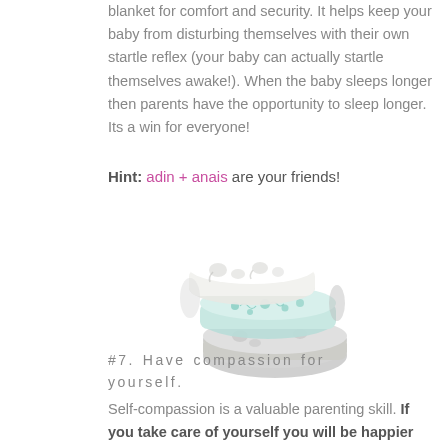blanket for comfort and security.  It helps keep your baby from disturbing themselves with their own startle reflex (your baby can actually startle themselves awake!).  When the baby sleeps longer then parents have the opportunity to sleep longer. Its a win for everyone!
Hint:  adin + anais are your friends!
[Figure (photo): A stack of three rolled/folded muslin swaddle blankets with light gray and mint/teal patterns including elephants, swirls, and stripes.]
#7.  Have compassion for yourself.
Self-compassion is a valuable parenting skill.  If you take care of yourself you will be happier taking care of others.  (You can read more about self-care for